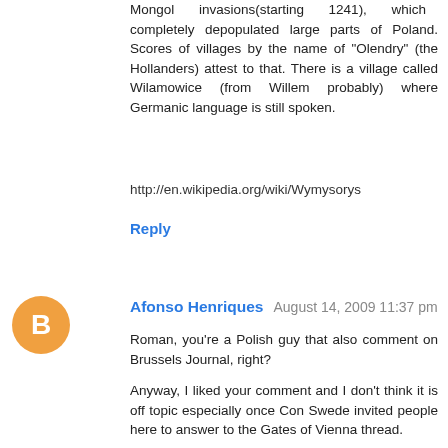Mongol invasions(starting 1241), which completely depopulated large parts of Poland. Scores of villages by the name of "Olendry" (the Hollanders) attest to that. There is a village called Wilamowice (from Willem probably) where Germanic language is still spoken.
http://en.wikipedia.org/wiki/Wymysorys
Reply
Afonso Henriques  August 14, 2009 11:37 pm
Roman, you're a Polish guy that also comment on Brussels Journal, right?
Anyway, I liked your comment and I don't think it is off topic especially once Con Swede invited people here to answer to the Gates of Vienna thread.
I don't know much about Eastern European serfdom or Germanic serfdom and I truly cannot identify much with an advent like the Thirty Years War due to cultural dissimilarities but my impression is that "serfdom" in